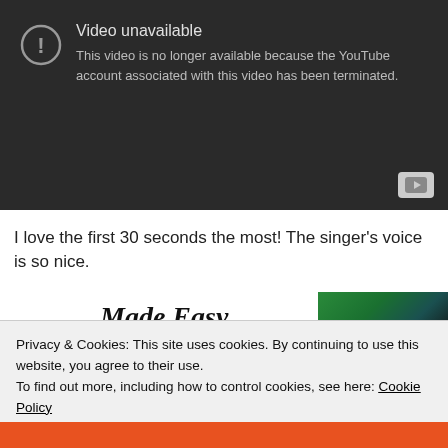[Figure (screenshot): YouTube embedded video player showing 'Video unavailable' error message on dark background. Text reads: 'Video unavailable. This video is no longer available because the YouTube account associated with this video has been terminated.' YouTube play button logo in bottom right corner.]
I love the first 30 seconds the most! The singer's voice is so nice.
[Figure (screenshot): Partial view of a blog section titled 'Made Easy' in bold italic font, with a partial photo of a person in green clothing on the right.]
Privacy & Cookies: This site uses cookies. By continuing to use this website, you agree to their use.
To find out more, including how to control cookies, see here: Cookie Policy
Close and accept